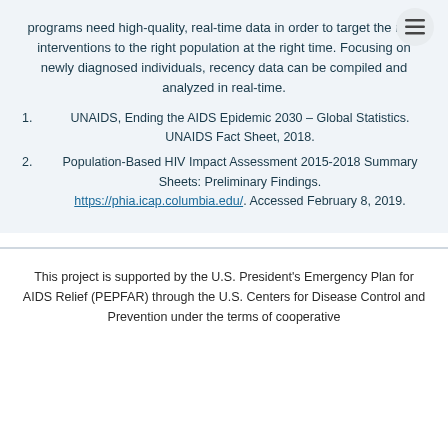programs need high-quality, real-time data in order to target the right interventions to the right population at the right time. Focusing on newly diagnosed individuals, recency data can be compiled and analyzed in real-time.
1. UNAIDS, Ending the AIDS Epidemic 2030 – Global Statistics. UNAIDS Fact Sheet, 2018.
2. Population-Based HIV Impact Assessment 2015-2018 Summary Sheets: Preliminary Findings. https://phia.icap.columbia.edu/. Accessed February 8, 2019.
This project is supported by the U.S. President's Emergency Plan for AIDS Relief (PEPFAR) through the U.S. Centers for Disease Control and Prevention under the terms of cooperative